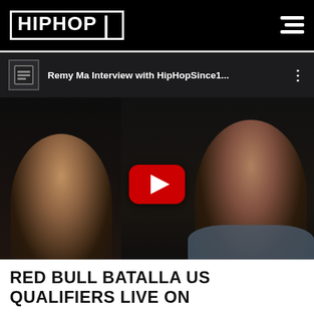HIPHOP3
[Figure (screenshot): YouTube embedded video player showing 'Remy Ma Interview with HipHopSince1...' with two people visible in the thumbnail and a YouTube play button overlay. HipHop3 watermark logo at the bottom.]
RED BULL BATALLA US QUALIFIERS LIVE ON